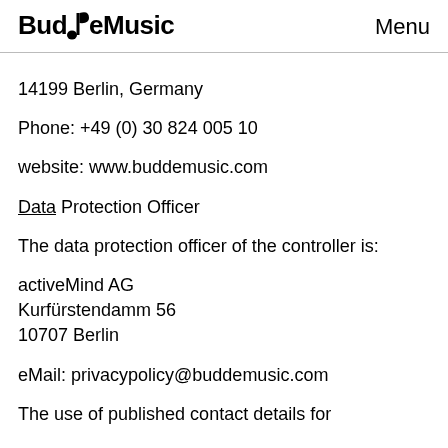BuddeMusic   Menu
14199 Berlin, Germany
Phone: +49 (0) 30 824 005 10
website: www.buddemusic.com
Data Protection Officer
The data protection officer of the controller is:
activeMind AG
Kurfürstendamm 56
10707 Berlin
eMail: privacypolicy@buddemusic.com
The use of published contact details for